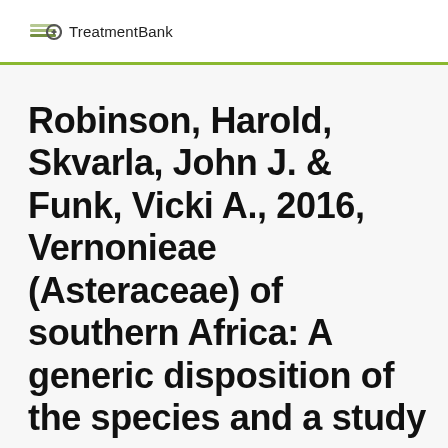TreatmentBank
Robinson, Harold, Skvarla, John J. & Funk, Vicki A., 2016, Vernonieae (Asteraceae) of southern Africa: A generic disposition of the species and a study